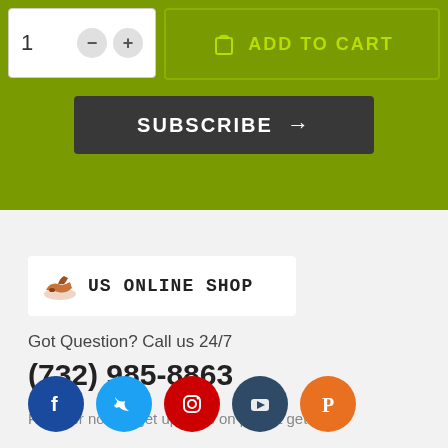[Figure (screenshot): E-commerce product page UI: quantity selector with minus/plus buttons, green ADD TO CART button, dark SUBSCRIBE arrow button, olive green background bar]
[Figure (logo): US ONLINE SHOP logo with boot/shoe icon in orange]
Got Question? Call us 24/7
(732) 985-8863
Register now to get updates on pronot get up icons & coupons ster now toon.
[Figure (infographic): Social media icons row: Facebook (blue), Twitter (light blue), Instagram (red), YouTube (dark blue), Pinterest (orange)]